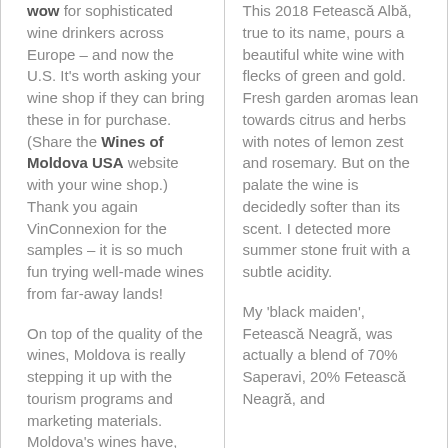wow for sophisticated wine drinkers across Europe – and now the U.S. It's worth asking your wine shop if they can bring these in for purchase. (Share the Wines of Moldova USA website with your wine shop.) Thank you again VinConnexion for the samples – it is so much fun trying well-made wines from far-away lands!
On top of the quality of the wines, Moldova is really stepping it up with the tourism programs and marketing materials. Moldova's wines have,
This 2018 Fetească Albă, true to its name, pours a beautiful white wine with flecks of green and gold. Fresh garden aromas lean towards citrus and herbs with notes of lemon zest and rosemary. But on the palate the wine is decidedly softer than its scent. I detected more summer stone fruit with a subtle acidity.
My 'black maiden', Fetească Neagră, was actually a blend of 70% Saperavi, 20% Fetească Neagră, and